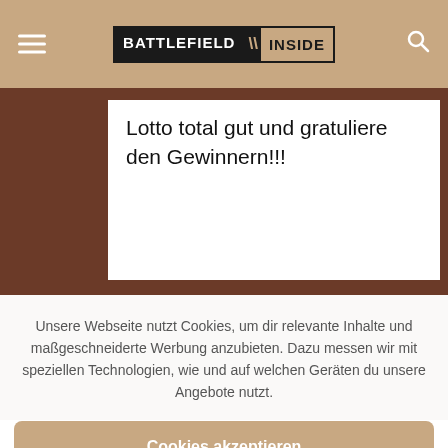BATTLEFIELD INSIDE
Lotto total gut und gratuliere den Gewinnern!!!
Unsere Webseite nutzt Cookies, um dir relevante Inhalte und maßgeschneiderte Werbung anzubieten. Dazu messen wir mit speziellen Technologien, wie und auf welchen Geräten du unsere Angebote nutzt.
Cookies akzeptieren
Einstellungen
Be the first one to like this!